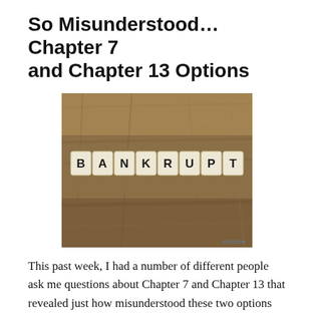So Misunderstood…Chapter 7 and Chapter 13 Options
[Figure (photo): Scrabble letter tiles spelling 'BANKRUPT' arranged on a wooden surface. A small logo/watermark appears in the bottom right corner.]
This past week, I had a number of different people ask me questions about Chapter 7 and Chapter 13 that revealed just how misunderstood these two options are. Here are